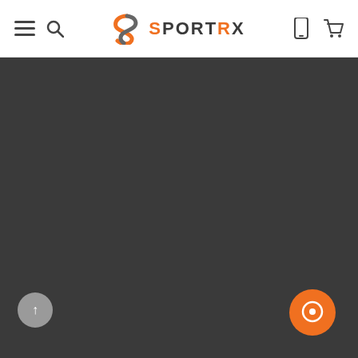SportRx website header with navigation icons
[Figure (screenshot): Dark gray content area filling most of the page below the header]
[Figure (logo): SportRx logo with orange S icon and dark gray text SPORTRX]
[Figure (other): Orange circular chat button in bottom right corner]
[Figure (other): Gray circular scroll-to-top button in bottom left corner]